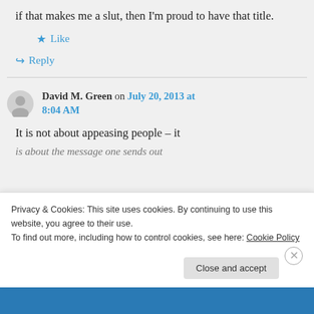if that makes me a slut, then I'm proud to have that title.
Like
Reply
David M. Green on July 20, 2013 at 8:04 AM
It is not about appeasing people – it is about the message one sends out
Privacy & Cookies: This site uses cookies. By continuing to use this website, you agree to their use. To find out more, including how to control cookies, see here: Cookie Policy
Close and accept